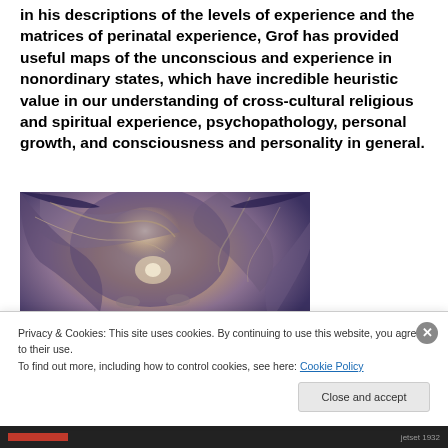in his descriptions of the levels of experience and the matrices of perinatal experience, Grof has provided useful maps of the unconscious and experience in nonordinary states, which have incredible heuristic value in our understanding of cross-cultural religious and spiritual experience, psychopathology, personal growth, and consciousness and personality in general.
[Figure (illustration): Partial view of a painting depicting a face or head with flowing, swirling hair or energy patterns in muted purples, blues, beiges and golds, with a glowing central area.]
Privacy & Cookies: This site uses cookies. By continuing to use this website, you agree to their use.
To find out more, including how to control cookies, see here: Cookie Policy
Close and accept